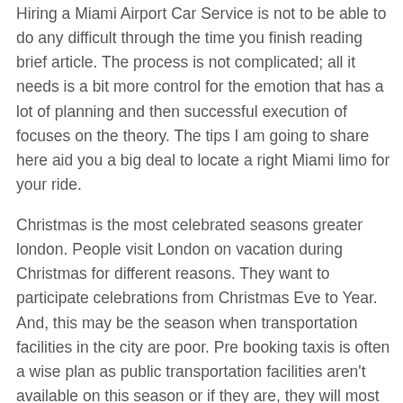Hiring a Miami Airport Car Service is not to be able to do any difficult through the time you finish reading brief article. The process is not complicated; all it needs is a bit more control for the emotion that has a lot of planning and then successful execution of focuses on the theory. The tips I am going to share here aid you a big deal to locate a right Miami limo for your ride.
Christmas is the most celebrated seasons greater london. People visit London on vacation during Christmas for different reasons. They want to participate celebrations from Christmas Eve to Year. And, this may be the season when transportation facilities in the city are poor. Pre booking taxis is often a wise plan as public transportation facilities aren't available on this season or if they are, they will most certainly be reduced in number. Transportation facilities on Christmas Eve, Christmas Day and Boxing Day are limited and just one or two private